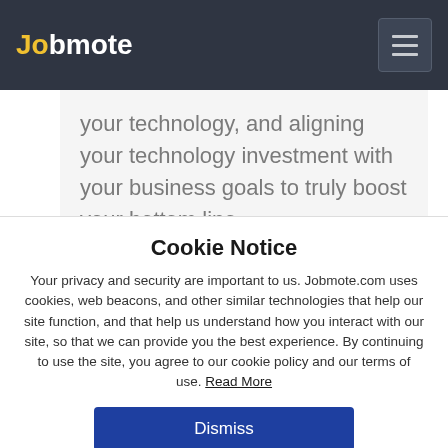Jobmote
your technology, and aligning your technology investment with your business goals to truly boost your bottom line.

We understand the importance of fixing issues quickly, however, we believe it's more important to prevent those issues
Cookie Notice
Your privacy and security are important to us. Jobmote.com uses cookies, web beacons, and other similar technologies that help our site function, and that help us understand how you interact with our site, so that we can provide you the best experience. By continuing to use the site, you agree to our cookie policy and our terms of use. Read More
Dismiss